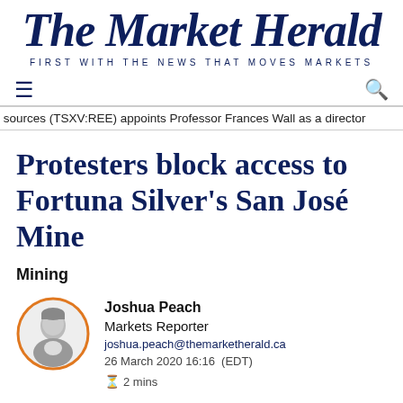The Market Herald
FIRST WITH THE NEWS THAT MOVES MARKETS
sources (TSXV:REE) appoints Professor Frances Wall as a director
Protesters block access to Fortuna Silver's San José Mine
Mining
Joshua Peach
Markets Reporter
joshua.peach@themarketherald.ca
26 March 2020 16:16 (EDT)
⏱ 2 mins